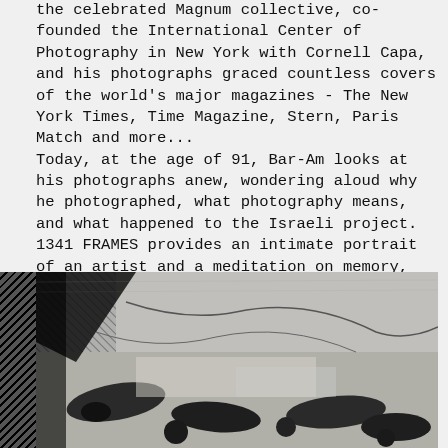the celebrated Magnum collective, co-founded the International Center of Photography in New York with Cornell Capa, and his photographs graced countless covers of the world's major magazines - The New York Times, Time Magazine, Stern, Paris Match and more... Today, at the age of 91, Bar-Am looks at his photographs anew, wondering aloud why he photographed, what photography means, and what happened to the Israeli project. 1341 FRAMES provides an intimate portrait of an artist and a meditation on memory, violence and identity. It is a complex love letter to the power, beauty and horror of photographic imagery.
[Figure (photo): Black and white photograph showing people lying or crouching on the ground, appearing to be a historical documentary photograph. The image has high contrast and shows multiple figures in an outdoor setting.]